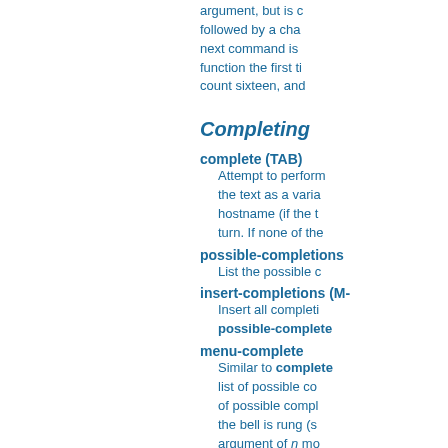argument, but is c followed by a cha next command is function the first ti count sixteen, and
Completing
complete (TAB)
Attempt to perform the text as a varia hostname (if the t turn. If none of the
possible-completions
List the possible c
insert-completions (M-
Insert all completi possible-comple
menu-complete
Similar to complete list of possible co of possible compl the bell is rung (s argument of n mo be used to move